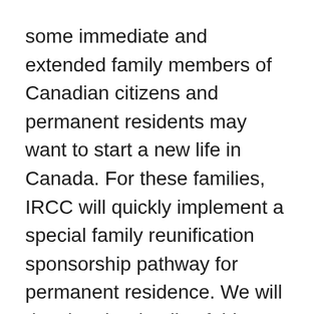some immediate and extended family members of Canadian citizens and permanent residents may want to start a new life in Canada. For these families, IRCC will quickly implement a special family reunification sponsorship pathway for permanent residence. We will develop the details of this program in the coming weeks, including by working with the Ukrainian Canadian Congress.
All Ukrainians who come to Canada as part of these measures will be eligible to apply for open work permits, making it easier for